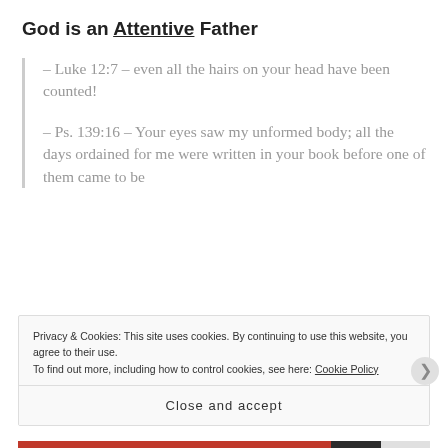God is an Attentive Father
– Luke 12:7 – even all the hairs on your head have been counted!
– Ps. 139:16 – Your eyes saw my unformed body; all the days ordained for me were written in your book before one of them came to be
Privacy & Cookies: This site uses cookies. By continuing to use this website, you agree to their use. To find out more, including how to control cookies, see here: Cookie Policy
Close and accept